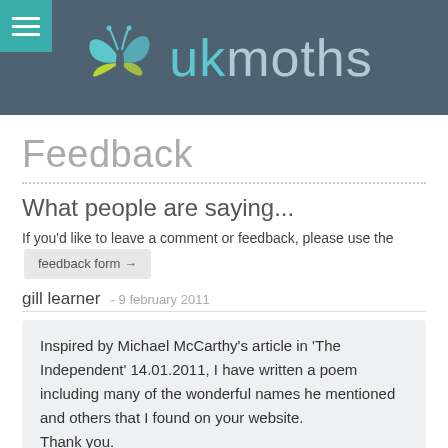ukmoths
Feedback
What people are saying...
If you'd like to leave a comment or feedback, please use the feedback form →
gill learner - 9 february 2011
Inspired by Michael McCarthy's article in 'The Independent' 14.01.2011, I have written a poem including many of the wonderful names he mentioned and others that I found on your website. Thank you.